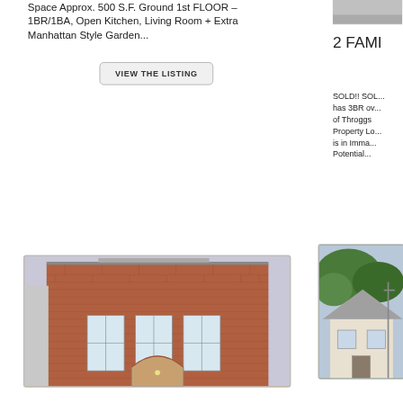Space Approx. 500 S.F. Ground 1st FLOOR – 1BR/1BA, Open Kitchen, Living Room + Extra Manhattan Style Garden...
VIEW THE LISTING
2 FAMI...
SOLD!! SOL... has 3BR ov... of Throggs... Property Lo... is in Imma... Potential...
[Figure (photo): Photo of top-right corner, partially visible]
[Figure (photo): Brick two-story building facade with arched entry and three windows on upper floor]
[Figure (photo): Partially visible house exterior with trees]